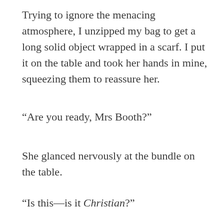Trying to ignore the menacing atmosphere, I unzipped my bag to get a long solid object wrapped in a scarf. I put it on the table and took her hands in mine, squeezing them to reassure her.
“Are you ready, Mrs Booth?”
She glanced nervously at the bundle on the table.
“Is this—is it Christian?”